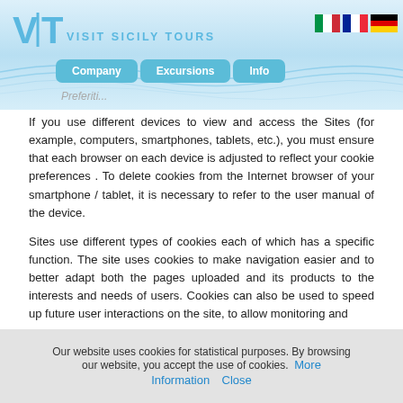Visit Sicily Tours — Company | Excursions | Info
If you use different devices to view and access the Sites (for example, computers, smartphones, tablets, etc.), you must ensure that each browser on each device is adjusted to reflect your cookie preferences . To delete cookies from the Internet browser of your smartphone / tablet, it is necessary to refer to the user manual of the device.
Sites use different types of cookies each of which has a specific function. The site uses cookies to make navigation easier and to better adapt both the pages uploaded and its products to the interests and needs of users. Cookies can also be used to speed up future user interactions on the site, to allow monitoring...
Our website uses cookies for statistical purposes. By browsing our website, you accept the use of cookies. More Information   Close